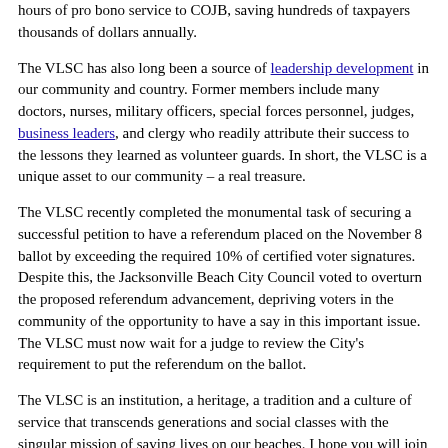hours of pro bono service to COJB, saving hundreds of taxpayers thousands of dollars annually.
The VLSC has also long been a source of leadership development in our community and country. Former members include many doctors, nurses, military officers, special forces personnel, judges, business leaders, and clergy who readily attribute their success to the lessons they learned as volunteer guards. In short, the VLSC is a unique asset to our community – a real treasure.
The VLSC recently completed the monumental task of securing a successful petition to have a referendum placed on the November 8 ballot by exceeding the required 10% of certified voter signatures. Despite this, the Jacksonville Beach City Council voted to overturn the proposed referendum advancement, depriving voters in the community of the opportunity to have a say in this important issue. The VLSC must now wait for a judge to review the City's requirement to put the referendum on the ballot.
The VLSC is an institution, a heritage, a tradition and a culture of service that transcends generations and social classes with the singular mission of saving lives on our beaches. I hope you will join and support our community's efforts to #Savethe. You can help by placing signs in your yard, contacting your local council members, and educating your friends and neighbors about this important issue. Every grain of sand helps.